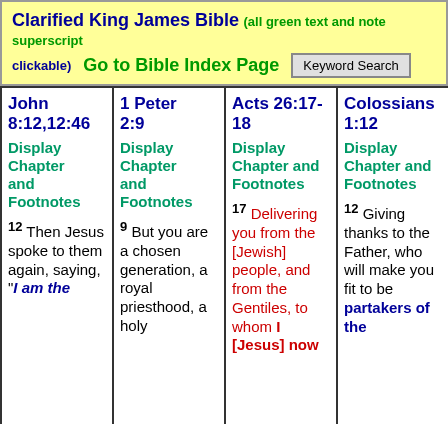Clarified King James Bible (all green text and note superscript clickable)   Go to Bible Index Page   Keyword Search
| John 8:12,12:46 | 1 Peter 2:9 | Acts 26:17-18 | Colossians 1:12 |
| --- | --- | --- | --- |
| Display Chapter and Footnotes | Display Chapter and Footnotes | Display Chapter and Footnotes | Display Chapter and Footnotes |
| 12 Then Jesus spoke to them again, saying, "I am the | 9 But you are a chosen generation, a royal priesthood, a holy | 17 Delivering you from the [Jewish] people, and from the Gentiles, to whom I [Jesus] now | 12 Giving thanks to the Father, who will make you fit to be partakers of the |